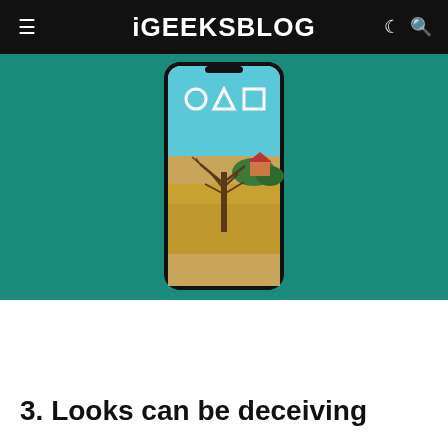iGEEKSBLOG
[Figure (photo): Smartphone displaying a Squid Game themed wallpaper with circle, triangle, square symbols on a teal background, against a teal studio background]
Download
3. Looks can be deceiving